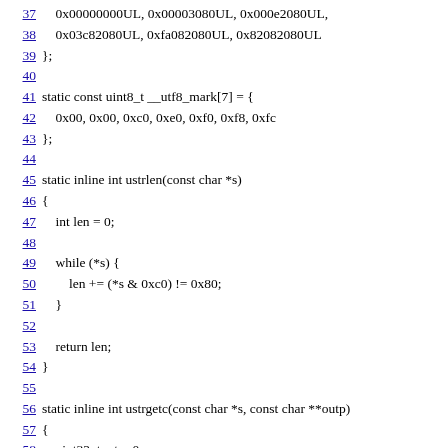Code listing lines 37-61: C source code showing array definitions and functions ustrlen and ustrgetc
37    0x00000000UL, 0x00003080UL, 0x000e2080UL,
38    0x03c82080UL, 0xfa082080UL, 0x82082080UL
39 };
40
41 static const uint8_t __utf8_mark[7] = {
42    0x00, 0x00, 0xc0, 0xe0, 0xf0, 0xf8, 0xfc
43 };
44
45 static inline int ustrlen(const char *s)
46 {
47     int len = 0;
48
49     while (*s) {
50         len += (*s & 0xc0) != 0x80;
51     }
52
53     return len;
54 }
55
56 static inline int ustrgetc(const char *s, const char **outp)
57 {
58     uint32_t ret = 0;
59     int trail = __utf8_trail[(unsigned char)*s];
60
61     switch (trail) {